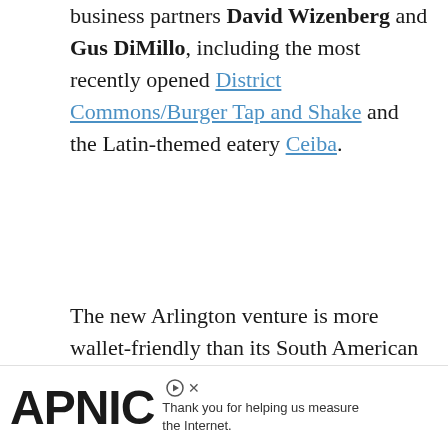business partners David Wizenberg and Gus DiMillo, including the most recently opened District Commons/Burger Tap and Shake and the Latin-themed eatery Ceiba.
The new Arlington venture is more wallet-friendly than its South American cousin, and the menu draws strictly from Mexico. To that end, the kitchen is helmed by chef de cuisine Alfredo Solis, a Mexico City native who's cooked alongside Tunks for the past 11 years. You'll find classics such as thin, freshly fried chips and corn tortillas flattened on a wooden press and cooked to order. Nine varieties of
[Figure (other): APNIC advertisement banner with logo and text 'Thank you for helping us measure the Internet.']